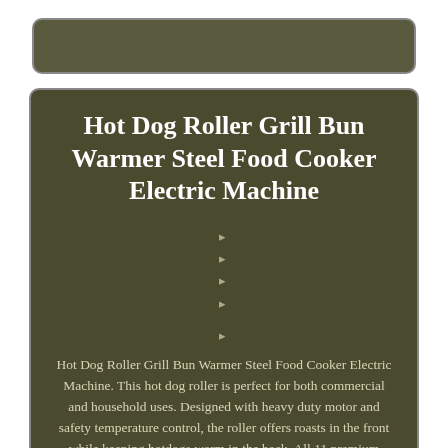Hot Dog Roller Grill Bun Warmer Steel Food Cooker Electric Machine
Hot Dog Roller Grill Bun Warmer Steel Food Cooker Electric Machine. This hot dog roller is perfect for both commercial and household uses. Designed with heavy duty motor and safety temperature control, the roller offers roasts in the front while keeping hotdogs warm in the back. All 11 premium grade and non-stick stainless steel rollers rotate 360 degrees, heated evenly. Made of stainless steel, the roller provides a reliable use in the long term. And you can enjoy your favourite hot dogs whenever you feel like it with the roller looking great in your kitchen or even dining table. The roller is ideal for convenient stores, long meetings, farmer markets, all sporting events and more. 1 x Commercial 7-roller